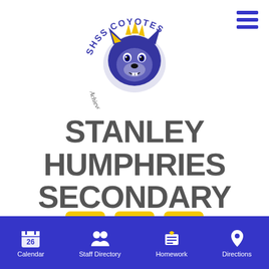[Figure (logo): SHSS Coyotes mascot logo with coyote head, yellow and purple colors, text 'SHSS COYOTES' and 'Achieve. Lead. Succeed.']
STANLEY HUMPHRIES SECONDARY
[Figure (infographic): Three social media icons (Facebook, Instagram, Twitter) in yellow square buttons]
STAFF   MYEDBC/FAMILY PORTAL   MOODLE
Calendar  Staff Directory  Homework  Directions